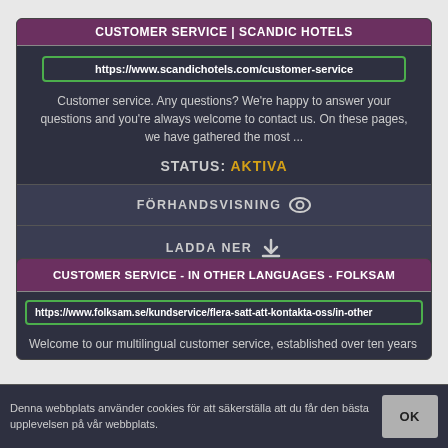CUSTOMER SERVICE | SCANDIC HOTELS
https://www.scandichotels.com/customer-service
Customer service. Any questions? We're happy to answer your questions and you're always welcome to contact us. On these pages, we have gathered the most ...
STATUS: AKTIVA
FÖRHANDSVISNING
LADDA NER
CUSTOMER SERVICE - IN OTHER LANGUAGES - FOLKSAM
https://www.folksam.se/kundservice/flera-satt-att-kontakta-oss/in-other
Welcome to our multilingual customer service, established over ten years
Denna webbplats använder cookies för att säkerställa att du får den bästa upplevelsen på vår webbplats.